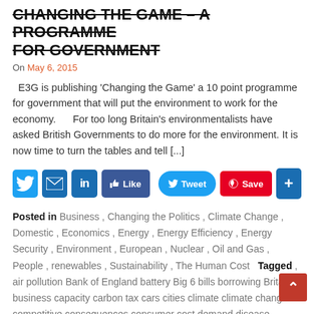CHANGING THE GAME – A PROGRAMME FOR GOVERNMENT
On May 6, 2015
E3G is publishing 'Changing the Game' a 10 point programme for government that will put the environment to work for the economy.      For too long Britain's environmentalists have asked British Governments to do more for the environment. It is now time to turn the tables and tell [...]
[Figure (infographic): Social sharing buttons row: Twitter, Email, LinkedIn, Like, Tweet, Save (Pinterest), and plus/share button]
Posted in Business , Changing the Politics , Climate Change , Domestic , Economics , Energy , Energy Efficiency , Energy Security , Environment , European , Nuclear , Oil and Gas , People , renewables , Sustainability , The Human Cost   Tagged , air pollution Bank of England battery Big 6 bills borrowing Britain business capacity carbon tax cars cities climate climate change competitive consequences consumer cost demand disease vehicles electricity emissions energy Energy Act energy